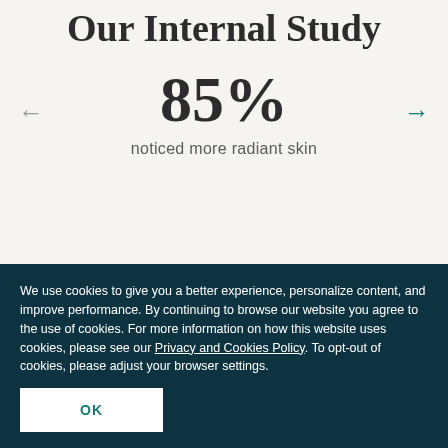Our Internal Study
85%
noticed more radiant skin
We use cookies to give you a better experience, personalize content, and improve performance. By continuing to browse our website you agree to the use of cookies. For more information on how this website uses cookies, please see our Privacy and Cookies Policy. To opt-out of cookies, please adjust your browser settings.
OK